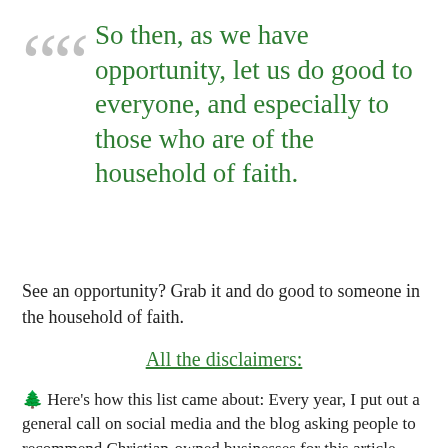So then, as we have opportunity, let us do good to everyone, and especially to those who are of the household of faith.
See an opportunity? Grab it and do good to someone in the household of faith.
All the disclaimers:
🌲 Here's how this list came about: Every year, I put out a general call on social media and the blog asking people to recommend Christian-owned businesses for this article. Well, you know how things on social media get shared around to a friend